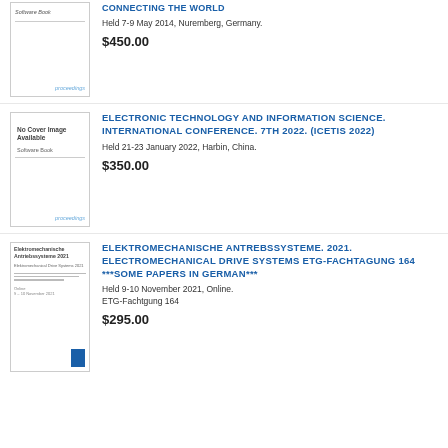[Figure (illustration): Book cover placeholder showing 'Software Book' and 'proceedings' logo]
CONNECTING THE WORLD
Held 7-9 May 2014, Nuremberg, Germany.
$450.00
[Figure (illustration): Book cover placeholder showing 'No Cover Image Available', 'Software Book', and 'proceedings' logo]
ELECTRONIC TECHNOLOGY AND INFORMATION SCIENCE. INTERNATIONAL CONFERENCE. 7TH 2022. (ICETIS 2022)
Held 21-23 January 2022, Harbin, China.
$350.00
[Figure (illustration): Book cover showing 'Elektromechanische Antriebssysteme 2021' with blue rectangle logo]
ELEKTROMECHANISCHE ANTREBSSYSTEME. 2021. ELECTROMECHANICAL DRIVE SYSTEMS ETG-FACHTAGUNG 164 ***SOME PAPERS IN GERMAN***
Held 9-10 November 2021, Online.
ETG-Fachtgung 164
$295.00